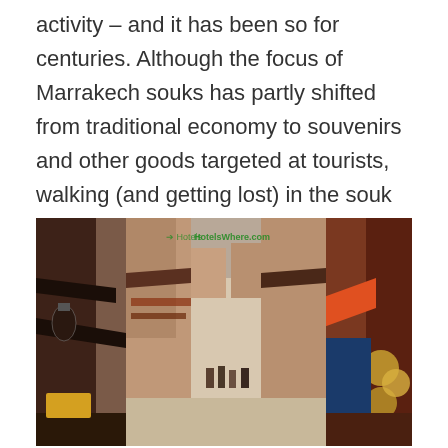activity – and it has been so for centuries. Although the focus of Marrakech souks has partly shifted from traditional economy to souvenirs and other goods targeted at tourists, walking (and getting lost) in the souk is still a good part of Marrakech experience.
[Figure (photo): Street-level photograph of a busy Marrakech souk alleyway. Stalls and shops line both sides of a narrow lane stretching into the distance, with awnings and hanging goods overhead. A watermark reading 'HotelsWhere.com' appears near the top center.]